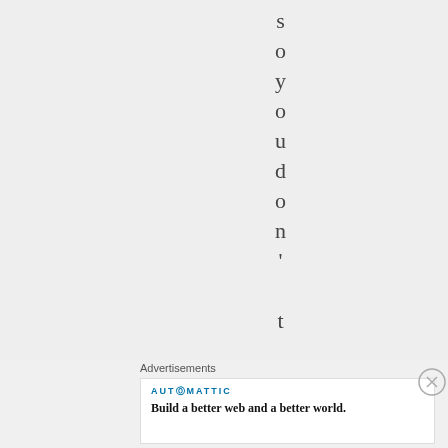so you don't tend
Advertisements
[Figure (logo): Automattic logo with tagline: Build a better web and a better world.]